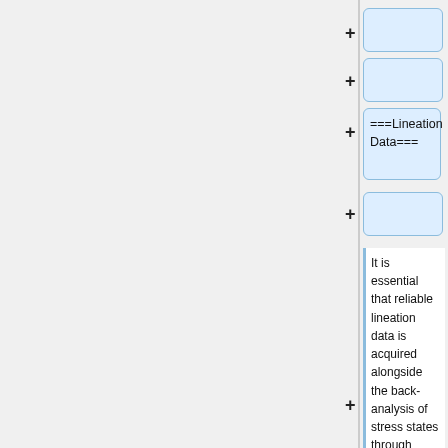[Figure (screenshot): UI collapsed box 1 with plus button, blue border, empty content]
[Figure (screenshot): UI collapsed box 2 with plus button, blue border, empty content]
===Lineation Data===
[Figure (screenshot): UI collapsed box 4 with plus button, blue border, empty content]
It is essential that reliable lineation data is acquired alongside the back-analysis of stress states through “beachball” diagrams. For simple state, P-T axes line up orthogonally with the poles and great circles of the faults (Figure 7A). However, the geometry of P-T with respect to the